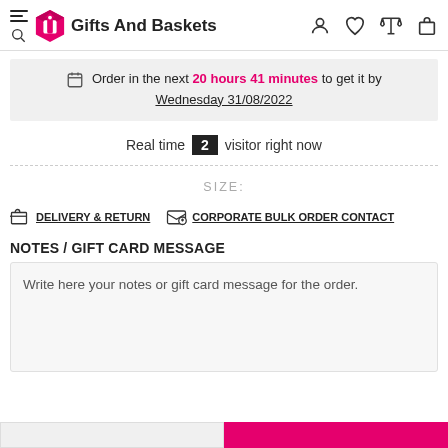Gifts And Baskets
Order in the next 20 hours 41 minutes to get it by Wednesday 31/08/2022
Real time 2 visitor right now
SIZE:
DELIVERY & RETURN
CORPORATE BULK ORDER CONTACT
NOTES / GIFT CARD MESSAGE
Write here your notes or gift card message for the order.